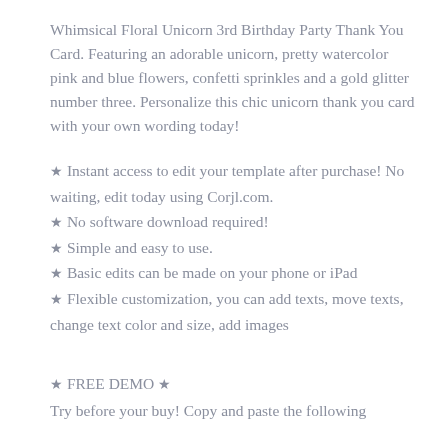Whimsical Floral Unicorn 3rd Birthday Party Thank You Card. Featuring an adorable unicorn, pretty watercolor pink and blue flowers, confetti sprinkles and a gold glitter number three. Personalize this chic unicorn thank you card with your own wording today!
★ Instant access to edit your template after purchase! No waiting, edit today using Corjl.com.
★ No software download required!
★ Simple and easy to use.
★ Basic edits can be made on your phone or iPad
★ Flexible customization, you can add texts, move texts, change text color and size, add images
★ FREE DEMO ★
Try before your buy! Copy and paste the following